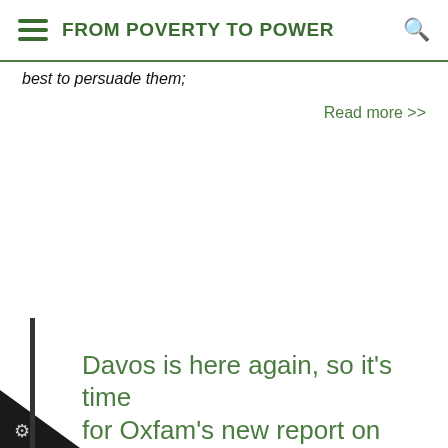FROM POVERTY TO POWER
best to persuade them;
Read more >>
Davos is here again, so it's time for Oxfam's new report on